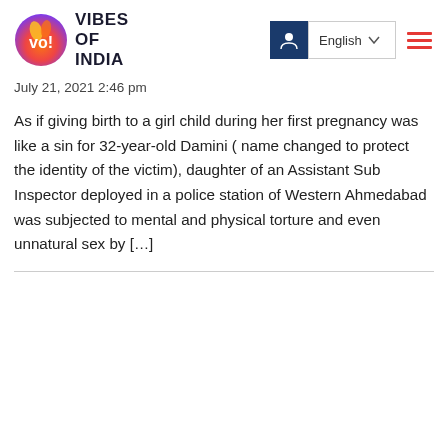[Figure (logo): Vibes of India logo with circular flame/globe graphic and bold text 'VIBES OF INDIA']
July 21, 2021 2:46 pm
As if giving birth to a girl child during her first pregnancy was like a sin for 32-year-old Damini ( name changed to protect the identity of the victim), daughter of an Assistant Sub Inspector deployed in a police station of Western Ahmedabad was subjected to mental and physical torture and even unnatural sex by […]